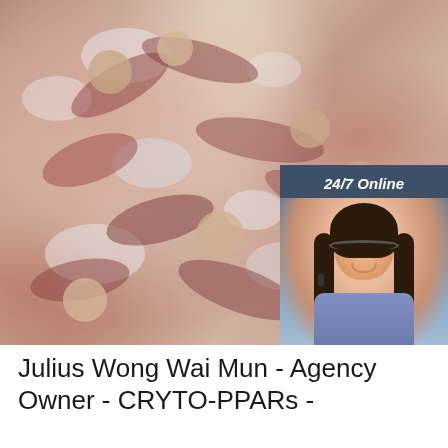[Figure (photo): Photograph of frozen meat/bones (pork bones) packaged in clear plastic wrap, with frost/ice crystals visible. In the bottom-right corner of the image is an orange 'TOP' logo with orange dots above it. Overlaid on the right side of the image is a chat widget showing '24/7 Online', a photo of a smiling woman with a headset, text 'Click here for free chat!', and an orange 'QUOTATION' button.]
Julius Wong Wai Mun - Agency Owner - CRYTO-PPARs -